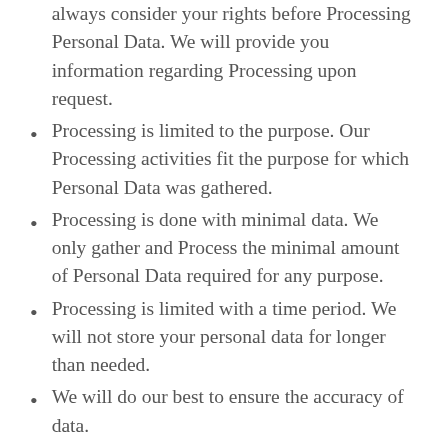always consider your rights before Processing Personal Data. We will provide you information regarding Processing upon request.
Processing is limited to the purpose. Our Processing activities fit the purpose for which Personal Data was gathered.
Processing is done with minimal data. We only gather and Process the minimal amount of Personal Data required for any purpose.
Processing is limited with a time period. We will not store your personal data for longer than needed.
We will do our best to ensure the accuracy of data.
We will do our best to ensure the integrity and confidentiality of data.